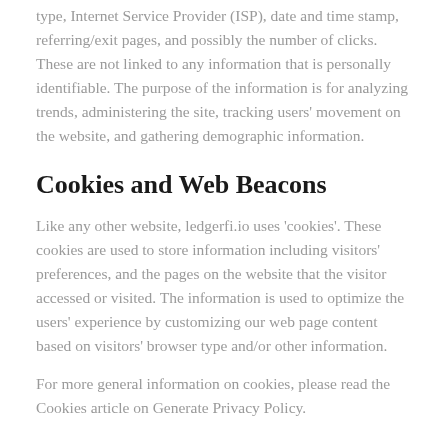type, Internet Service Provider (ISP), date and time stamp, referring/exit pages, and possibly the number of clicks. These are not linked to any information that is personally identifiable. The purpose of the information is for analyzing trends, administering the site, tracking users' movement on the website, and gathering demographic information.
Cookies and Web Beacons
Like any other website, ledgerfi.io uses 'cookies'. These cookies are used to store information including visitors' preferences, and the pages on the website that the visitor accessed or visited. The information is used to optimize the users' experience by customizing our web page content based on visitors' browser type and/or other information.
For more general information on cookies, please read the Cookies article on Generate Privacy Policy.